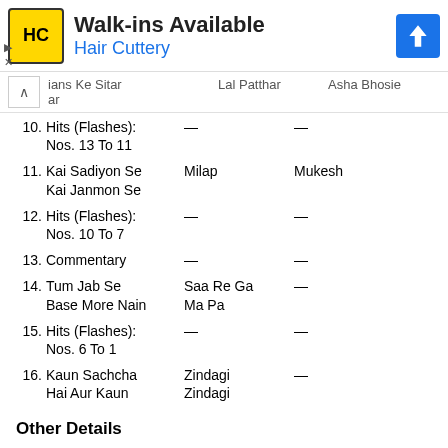[Figure (illustration): Hair Cuttery advertisement banner with yellow logo, 'Walk-ins Available' headline, and blue navigation arrow]
Mans Ke Sitar ar | Lal Patthar | Asha Bhosle
10. Hits (Flashes): Nos. 13 To 11 | — | —
11. Kai Sadiyon Se Kai Janmon Se | Milap | Mukesh
12. Hits (Flashes): Nos. 10 To 7 | — | —
13. Commentary | — | —
14. Tum Jab Se Base More Nain | Saa Re Ga Ma Pa | —
15. Hits (Flashes): Nos. 6 To 1 | — | —
16. Kaun Sachcha Hai Aur Kaun | Zindagi Zindagi | —
Other Details
Artist: Various Artists
Label: Sa Re Ga Ma / RPG